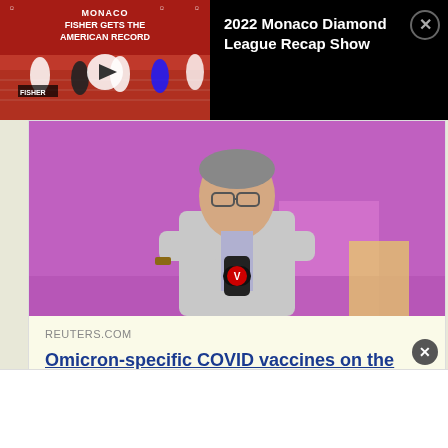[Figure (screenshot): Video thumbnail showing track and field athletes running, with text overlay 'MONACO FISHER GETS THE AMERICAN RECORD']
2022 Monaco Diamond League Recap Show
[Figure (photo): Man in grey suit holding a microphone with V logo, speaking in front of a purple background]
REUTERS.COM
Omicron-specific COVID vaccines on the horizon, Pfizer chief says